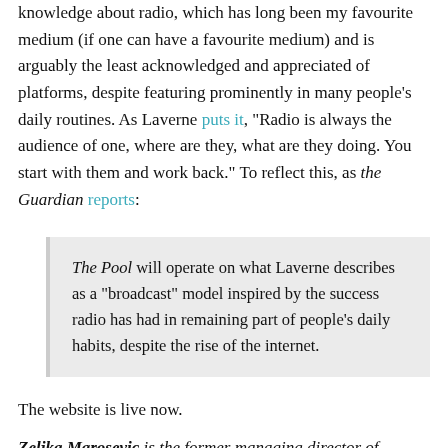knowledge about radio, which has long been my favourite medium (if one can have a favourite medium) and is arguably the least acknowledged and appreciated of platforms, despite featuring prominently in many people's daily routines. As Laverne puts it, "Radio is always the audience of one, where are they, what are they doing. You start with them and work back." To reflect this, as the Guardian reports:
The Pool will operate on what Laverne describes as a "broadcast" model inspired by the success radio has had in remaining part of people's daily habits, despite the rise of the internet.
The website is live now.
Zeljka Marosevic is the former managing director of